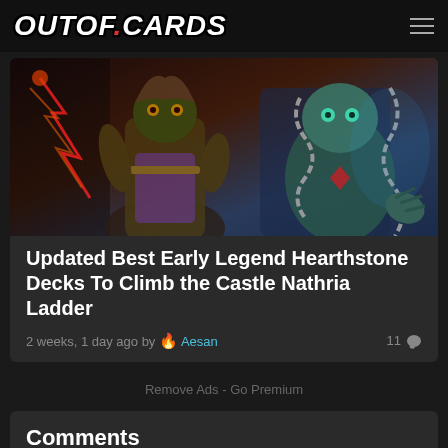OUTOF.CARDS
[Figure (illustration): Hearthstone Castle Nathria card art featuring fantasy characters with magical effects]
Updated Best Early Legend Hearthstone Decks To Climb the Castle Nathria Ladder
2 weeks, 1 day ago by 🔥 Aesan    11 💬
Remove Ads - Go Premium
Comments